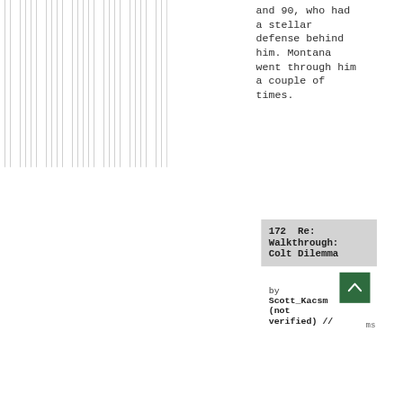and 90, who had a stellar defense behind him. Montana went through him a couple of times.
172  Re: Walkthrough: Colt Dilemma
by Scott_Kacsm (not verified) //